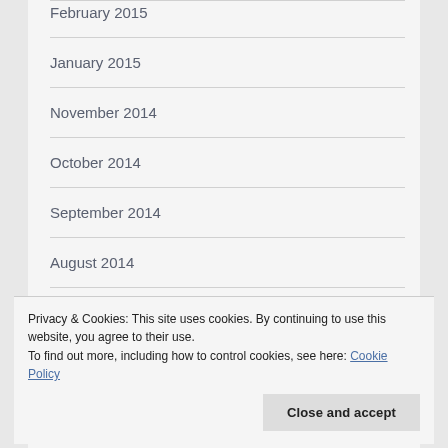February 2015
January 2015
November 2014
October 2014
September 2014
August 2014
July 2014
Privacy & Cookies: This site uses cookies. By continuing to use this website, you agree to their use.
To find out more, including how to control cookies, see here: Cookie Policy
Close and accept